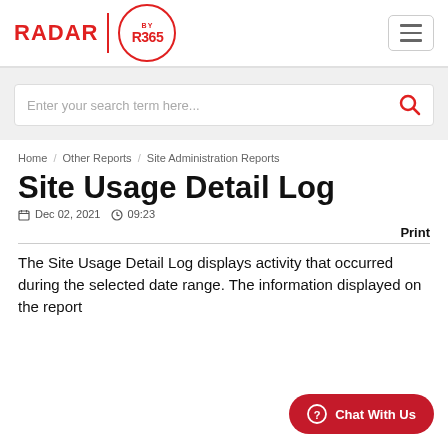RADAR | BY R365
Enter your search term here...
Home / Other Reports / Site Administration Reports
Site Usage Detail Log
Dec 02, 2021  09:23
Print
The Site Usage Detail Log displays activity that occurred during the selected date range. The information displayed on the report